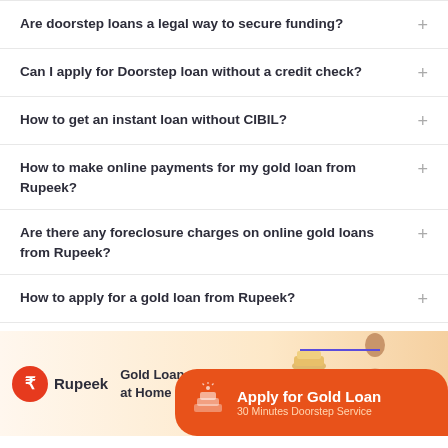Are doorstep loans a legal way to secure funding?
Can I apply for Doorstep loan without a credit check?
How to get an instant loan without CIBIL?
How to make online payments for my gold loan from Rupeek?
Are there any foreclosure charges on online gold loans from Rupeek?
How to apply for a gold loan from Rupeek?
[Figure (infographic): Rupeek Gold Loans at Home banner with orange CTA button 'Apply for Gold Loan - 30 Minutes Doorstep Service']